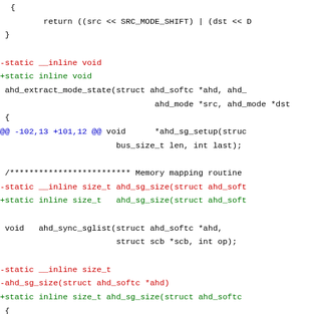[Figure (screenshot): Code diff showing changes to ahd driver source file, with red lines (removals) and green lines (additions), and blue diff hunk headers. Shows changes replacing __inline with inline in several static function declarations.]